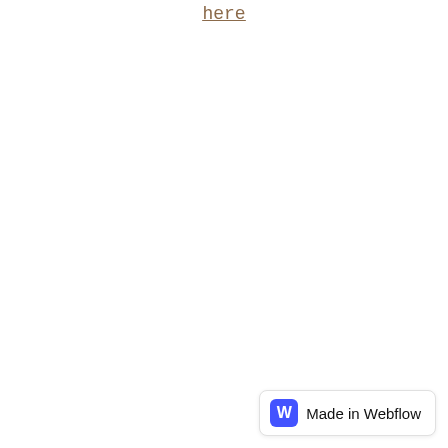here
[Figure (logo): Made in Webflow badge with blue W icon and text 'Made in Webflow']